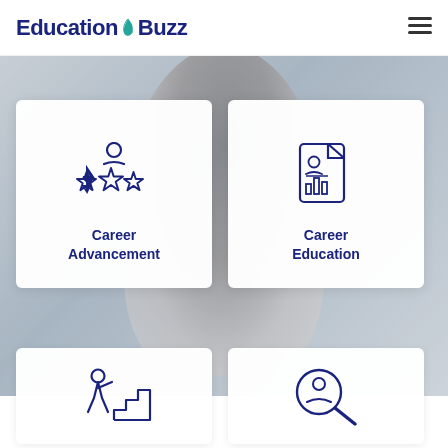Education Buzz
[Figure (screenshot): Hero background photo of a woman with dark hair, blurred office background, overlaid with two card sections.]
[Figure (illustration): Icon: person with three stars below (career advancement icon)]
Career Advancement
[Figure (illustration): Icon: document/resume with person and bar chart (career education icon)]
Career Education
[Figure (illustration): Icon: person climbing stairs]
[Figure (illustration): Icon: person with magnifying glass (search/find person)]